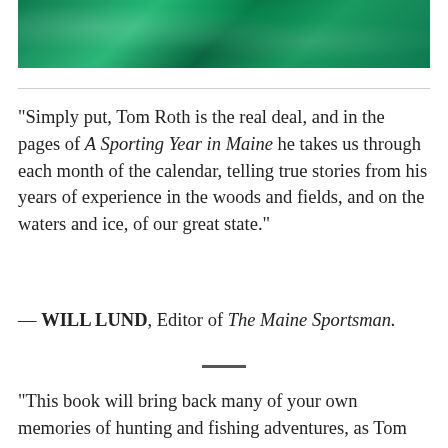[Figure (photo): Green water/nature photo strip at the top of the page]
“Simply put, Tom Roth is the real deal, and in the pages of A Sporting Year in Maine he takes us through each month of the calendar, telling true stories from his years of experience in the woods and fields, and on the waters and ice, of our great state.”
— WILL LUND, Editor of The Maine Sportsman.
“This book will bring back many of your own memories of hunting and fishing adventures, as Tom shares his own great stories, organized by month and he also offers a lot of good how-to advice. It took me a while to read this, because Tom inspired me to put the book